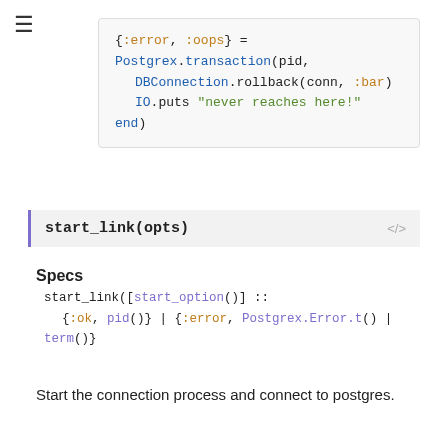[Figure (screenshot): Code block showing Elixir code: {:error, :oops} = Postgrex.transaction(pid, DBConnection.rollback(conn, :bar) IO.puts "never reaches here!" end)]
start_link(opts)
Specs
[Figure (screenshot): Type spec code block: start_link([start_option()]) :: {:ok, pid()} | {:error, Postgrex.Error.t() | term()}]
Start the connection process and connect to postgres.